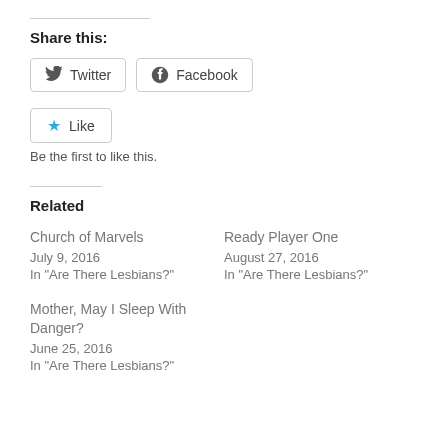Share this:
[Figure (other): Twitter and Facebook share buttons]
[Figure (other): Like button with star icon]
Be the first to like this.
Related
Church of Marvels
July 9, 2016
In "Are There Lesbians?"
Ready Player One
August 27, 2016
In "Are There Lesbians?"
Mother, May I Sleep With Danger?
June 25, 2016
In "Are There Lesbians?"